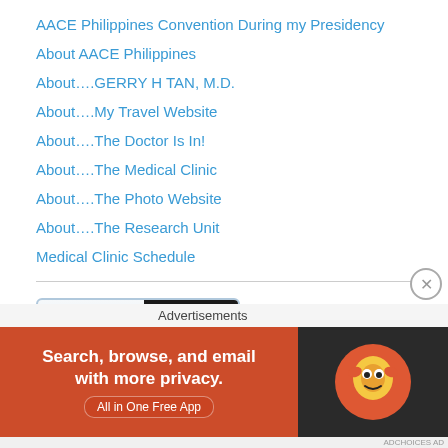AACE Philippines Convention During my Presidency
About AACE Philippines
About….GERRY H TAN, M.D.
About….My Travel Website
About….The Doctor Is In!
About….The Medical Clinic
About….The Photo Website
About….The Research Unit
Medical Clinic Schedule
[Figure (other): LinkedIn View my profile on button badge]
[Figure (other): DuckDuckGo advertisement banner: Search, browse, and email with more privacy. All in One Free App]